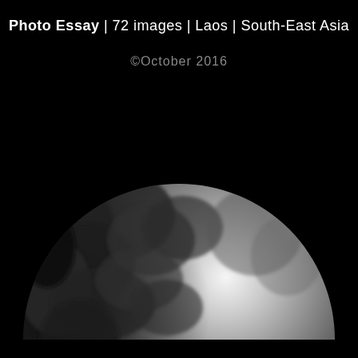Photo Essay | 72 images | Laos | South-East Asia
©October 2016
[Figure (photo): A semicircular cropped black and white photograph showing a person looking upward with trees and bright sky in the background, viewed from a low angle. The image is cropped into a half-circle (flat edge at bottom).]